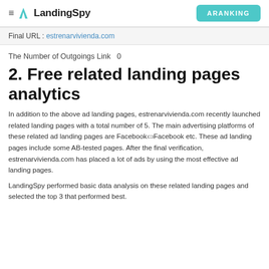LandingSpy | ARANKING
Final URL : estrenarvivienda.com
The Number of Outgoings Link   0
2. Free related landing pages analytics
In addition to the above ad landing pages, estrenarvivienda.com recently launched related landing pages with a total number of 5. The main advertising platforms of these related ad landing pages are Facebook▯acebook etc. These ad landing pages include some AB-tested pages. After the final verification, estrenarvivienda.com has placed a lot of ads by using the most effective ad landing pages.
LandingSpy performed basic data analysis on these related landing pages and selected the top 3 that performed best.